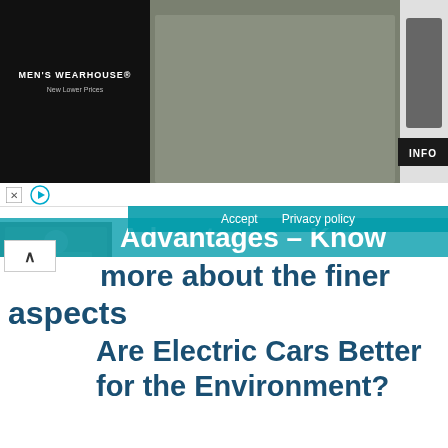[Figure (screenshot): Men's Wearhouse advertisement banner showing a couple in formalwear on left, a man in a suit on the right with INFO button, on a dark background]
[Figure (screenshot): Cookie consent bar with Accept and Privacy policy buttons overlaid on teal background]
Advantages – Know more about the finer aspects
Are Electric Cars Better for the Environment?